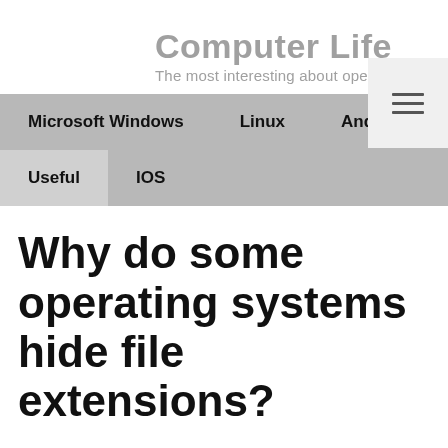Computer Life
The most interesting about operating sy
Microsoft Windows  Linux  Android
Useful  IOS
Why do some operating systems hide file extensions?